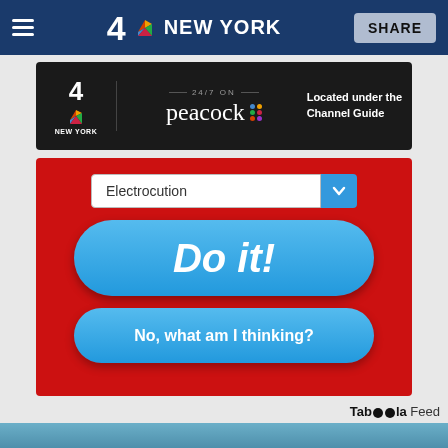4 NBC NEW YORK | SHARE
[Figure (screenshot): NBC 4 New York Peacock advertisement banner: 24/7 on Peacock, Located under the Channel Guide]
[Figure (screenshot): Interactive web widget with dropdown showing 'Electrocution', a blue 'Do it!' button, and a blue 'No, what am I thinking?' button on red background]
Taboola Feed
[Figure (photo): Photo of a young man in military camouflage uniform carrying a large military backpack, bent forward under its weight, with a blue sky and water visible in the background]